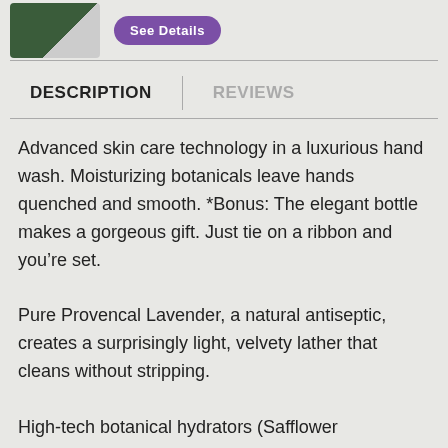[Figure (photo): Product bottles image with a purple 'See Details' button]
DESCRIPTION | REVIEWS
Advanced skin care technology in a luxurious hand wash. Moisturizing botanicals leave hands quenched and smooth. *Bonus: The elegant bottle makes a gorgeous gift. Just tie on a ribbon and you’re set.
Pure Provencal Lavender, a natural antiseptic, creates a surprisingly light, velvety lather that cleans without stripping.
High-tech botanical hydrators (Safflower